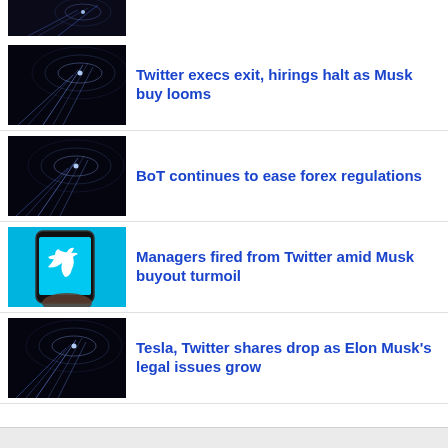[Figure (photo): Dark abstract fiber optic light streaks on black background, partially cropped at top]
[Figure (photo): Dark abstract fiber optic light streaks on black background]
Twitter execs exit, hirings halt as Musk buy looms
[Figure (photo): Dark abstract fiber optic light streaks on black background]
BoT continues to ease forex regulations
[Figure (photo): Hand holding a smartphone showing the Twitter bird logo on a bright cyan/blue screen]
Managers fired from Twitter amid Musk buyout turmoil
[Figure (photo): Dark abstract fiber optic light streaks on black background]
Tesla, Twitter shares drop as Elon Musk's legal issues grow